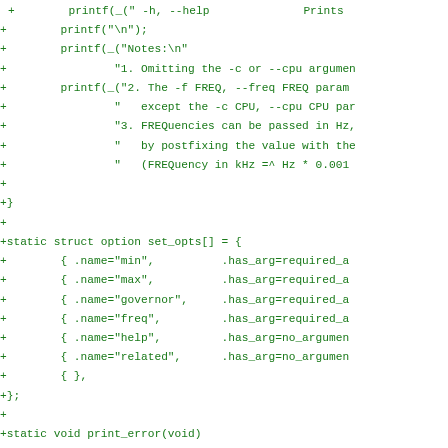Diff/patch code showing additions to a C source file with printf statements, struct option array set_opts[], and static void print_error(void) function.